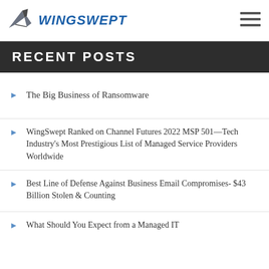WingSwept
RECENT POSTS
The Big Business of Ransomware
WingSwept Ranked on Channel Futures 2022 MSP 501—Tech Industry's Most Prestigious List of Managed Service Providers Worldwide
Best Line of Defense Against Business Email Compromises- $43 Billion Stolen & Counting
What Should You Expect from a Managed IT